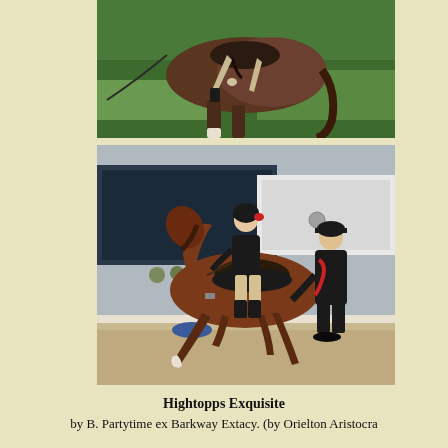[Figure (photo): Top portion of a horse with rider visible from mid-body backward, walking on green grass in sunlight. The horse is dark/bay colored.]
[Figure (photo): A child rider in black jacket and helmet riding a chestnut/bay horse at a trot in a show arena with sand footing and white rail fence. An adult handler in black clothing and red scarf walks alongside. Horse lorries and spectators visible in background.]
Hightopps Exquisite
by B. Partytime ex Barkway Extacy. (by Orielton Aristocra